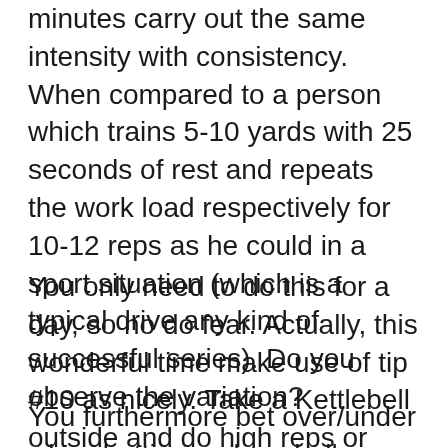minutes carry out the same intensity with consistency. When compared to a person which trains 5-10 yards with 25 seconds of rest and repeats the work load respectively for 10-12 reps as he could in a sport situation (which is a typical drive any kind of successful series). Do you observe the variation?
You only need to do this for a day, so no do fear. Actually, this wonderful time make use of tip #10 as nicely. Take a Kettlebell outside and do high reps or throw it like happen to be training for the Highland Games!
You furthermore bet over/under when betting on baseball, which to be able to bet for that total associated with runs predicted for